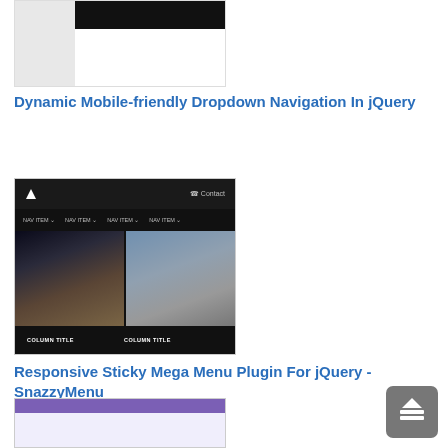[Figure (screenshot): Partial screenshot of a mobile-friendly dropdown navigation UI with dark header and white content area]
Dynamic Mobile-friendly Dropdown Navigation In jQuery
[Figure (screenshot): Screenshot of a responsive sticky mega menu (SnazzyMenu) with dark background, nav items, and two image columns with COLUMN TITLE labels]
Responsive Sticky Mega Menu Plugin For jQuery - SnazzyMenu
[Figure (screenshot): Partial screenshot of a third navigation/menu plugin with purple top bar]